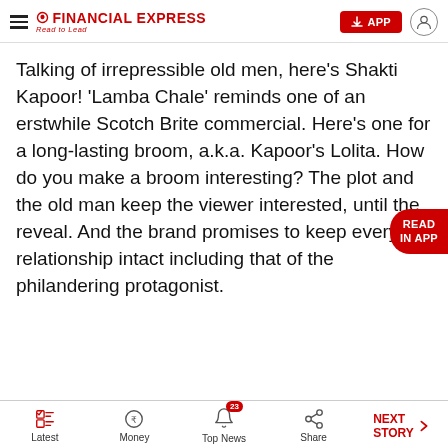FINANCIAL EXPRESS Read to Lead
Talking of irrepressible old men, here’s Shakti Kapoor! ‘Lamba Chale’ reminds one of an erstwhile Scotch Brite commercial. Here’s one for a long-lasting broom, a.k.a. Kapoor’s Lolita. How do you make a broom interesting? The plot and the old man keep the viewer interested, until the reveal. And the brand promises to keep every relationship intact including that of the philandering protagonist.
Latest  Money  Top News 23  Share  NEXT STORY